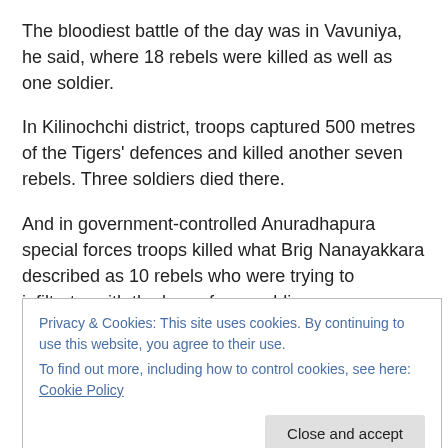The bloodiest battle of the day was in Vavuniya, he said, where 18 rebels were killed as well as one soldier.
In Kilinochchi district, troops captured 500 metres of the Tigers' defences and killed another seven rebels. Three soldiers died there.
And in government-controlled Anuradhapura special forces troops killed what Brig Nanayakkara described as 10 rebels who were trying to infiltrate, with the loss of one soldier.
Privacy & Cookies: This site uses cookies. By continuing to use this website, you agree to their use.
To find out more, including how to control cookies, see here: Cookie Policy
Close and accept